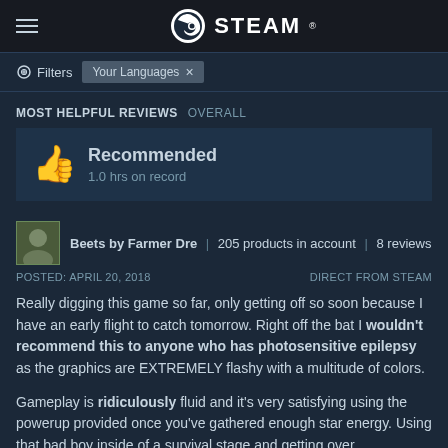STEAM
Filters | Your Languages
MOST HELPFUL REVIEWS OVERALL
Recommended
1.0 hrs on record
Beets by Farmer Dre | 205 products in account | 8 reviews
POSTED: APRIL 20, 2018   DIRECT FROM STEAM
Really digging this game so far, only getting off so soon because I have an early flight to catch tomorrow. Right off the bat I wouldn't recommend this to anyone who has photosensitive epilepsy as the graphics are EXTREMELY flashy with a multitude of colors.

Gameplay is ridiculously fluid and it's very satisfying using the powerup provided once you've gathered enough star energy. Using that bad boy inside of a survival stage and getting over...